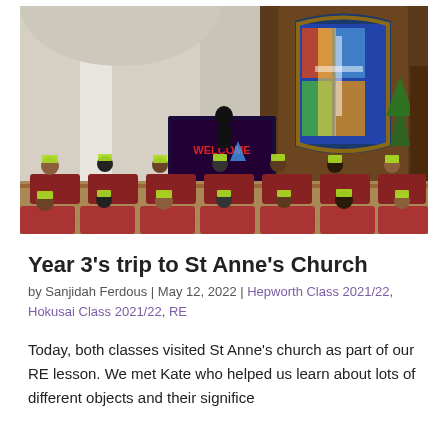[Figure (photo): Children wearing high-visibility vests seated in red chairs inside St Anne's Church, facing a presenter standing near a screen displaying 'WELCOME' with a large ornate stained glass window and wooden altar in the background.]
Year 3's trip to St Anne's Church
by Sanjidah Ferdous | May 12, 2022 | Hepworth Class 2021/22, Hokusai Class 2021/22, RE
Today, both classes visited St Anne's church as part of our RE lesson. We met Kate who helped us learn about lots of different objects and their significe...